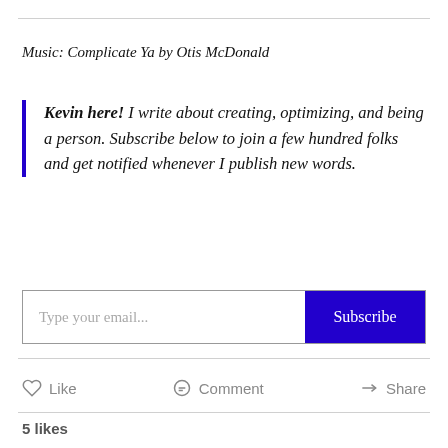Music: Complicate Ya by Otis McDonald
Kevin here! I write about creating, optimizing, and being a person. Subscribe below to join a few hundred folks and get notified whenever I publish new words.
[Figure (screenshot): Email subscription input box with placeholder 'Type your email...' and a blue 'Subscribe' button]
Like   Comment   Share
5 likes